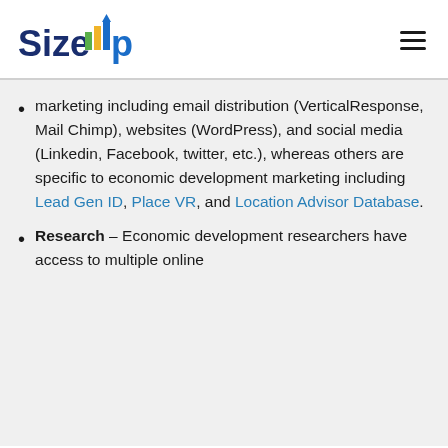[Figure (logo): SizeUp logo with colored bar chart arrow and blue text]
marketing including email distribution (VerticalResponse, Mail Chimp), websites (WordPress), and social media (Linkedin, Facebook, twitter, etc.), whereas others are specific to economic development marketing including Lead Gen ID, Place VR, and Location Advisor Database.
Research – Economic development researchers have access to multiple online